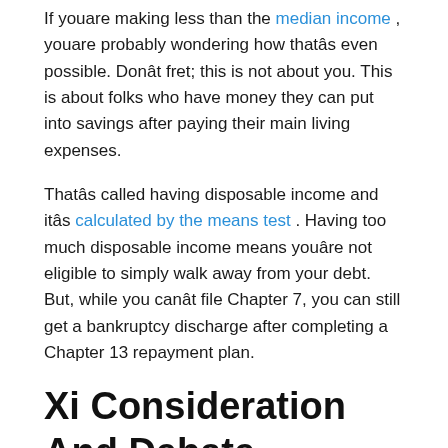If youare making less than the median income , youare probably wondering how thatâs even possible. Donât fret; this is not about you. This is about folks who have money they can put into savings after paying their main living expenses.
Thatâs called having disposable income and itâs calculated by the means test . Having too much disposable income means youâre not eligible to simply walk away from your debt. But, while you canât file Chapter 7, you can still get a bankruptcy discharge after completing a Chapter 13 repayment plan.
Xi Consideration And Debate